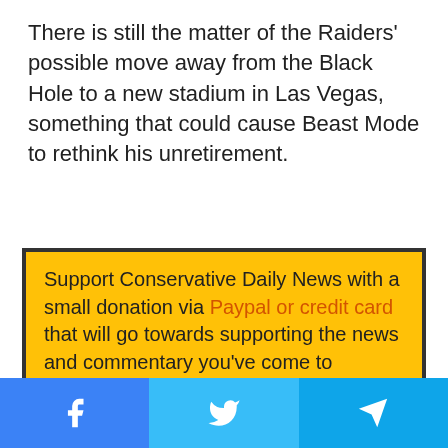There is still the matter of the Raiders' possible move away from the Black Hole to a new stadium in Las Vegas, something that could cause Beast Mode to rethink his unretirement.
Support Conservative Daily News with a small donation via Paypal or credit card that will go towards supporting the news and commentary you've come to appreciate.
#Marshawn Lynch
#Oakland Raiders
#Pro Football
#Seattle Seahawks
Facebook | Twitter | Telegram